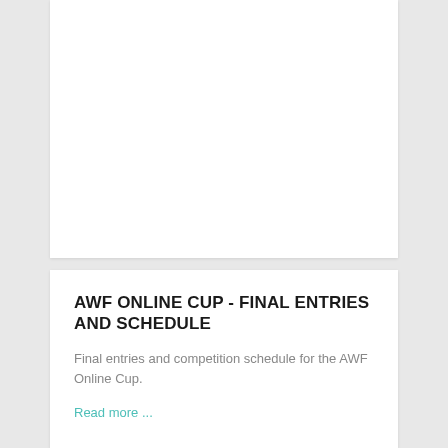[Figure (other): White card/image area, blank content at top of page]
AWF ONLINE CUP - FINAL ENTRIES AND SCHEDULE
Final entries and competition schedule for the AWF Online Cup.
Read more ...